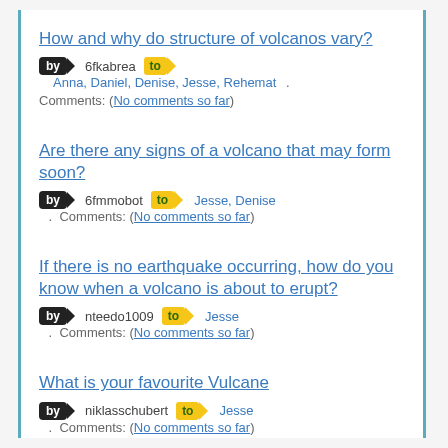How and why do structure of volcanos vary? by 6fkabrea to Anna, Daniel, Denise, Jesse, Rehemat . Comments: (No comments so far)
Are there any signs of a volcano that may form soon? by 6fmmobot to Jesse, Denise . Comments: (No comments so far)
If there is no earthquake occurring, how do you know when a volcano is about to erupt? by nteedo1009 to Jesse . Comments: (No comments so far)
What is your favourite Vulcane by niklasschubert to Jesse . Comments: (No comments so far)